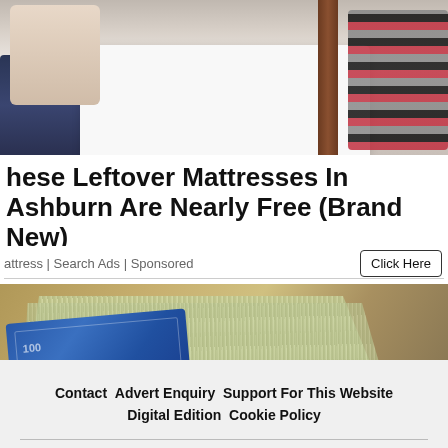[Figure (photo): Two people sitting on a bed with a white mattress between them]
These Leftover Mattresses In Ashburn Are Nearly Free (Brand New)
Mattress | Search Ads | Sponsored
[Figure (photo): A stack of $100 bills fanned out, being held by a hand]
Contact  Advert Enquiry  Support For This Website  Digital Edition  Cookie Policy